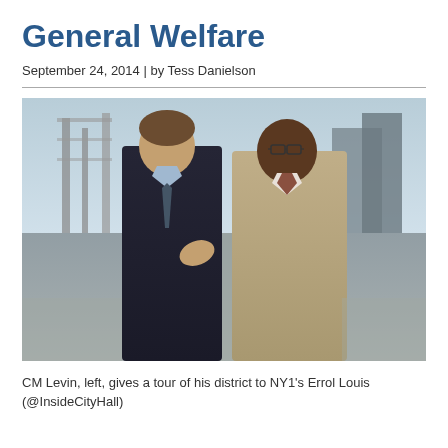General Welfare
September 24, 2014 | by Tess Danielson
[Figure (photo): Two men in suits standing outdoors near a waterfront/dock area, appearing to have a conversation. The man on the left wears a dark suit and is gesturing with his hands. The man on the right wears a tan/beige suit.]
CM Levin, left, gives a tour of his district to NY1's Errol Louis (@InsideCityHall)